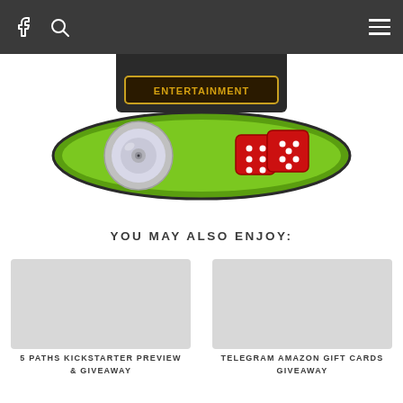Navigation bar with Facebook icon, search icon, and hamburger menu
[Figure (logo): Entertainment website logo on a green oval platform with a CD/disc and two red dice, dark background with gold 'ENTERTAINMENT' text]
YOU MAY ALSO ENJOY:
[Figure (photo): Card image placeholder for 5 Paths Kickstarter Preview & Giveaway]
5 PATHS KICKSTARTER PREVIEW & GIVEAWAY
[Figure (photo): Card image placeholder for Telegram Amazon Gift Cards Giveaway]
TELEGRAM AMAZON GIFT CARDS GIVEAWAY